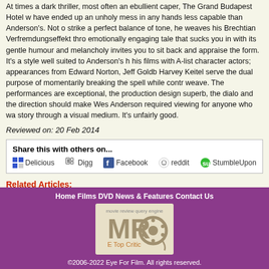At times a dark thriller, most often an ebullient caper, The Grand Budapest Hotel w... have ended up an unholy mess in any hands less capable than Anderson's. Not o... strike a perfect balance of tone, he weaves his Brechtian Verfremdungseffekt thro... emotionally engaging tale that sucks you in with its gentle humour and melancholy... invites you to sit back and appraise the form. It's a style well suited to Anderson's h... his films with A-list character actors; appearances from Edward Norton, Jeff Goldb... Harvey Keitel serve the dual purpose of momentarily breaking the spell while contr... weave. The performances are exceptional, the production design superb, the dialo... and the direction should make Wes Anderson required viewing for anyone who wa... story through a visual medium. It's unfairly good.
Reviewed on: 20 Feb 2014
Share this with others on... Delicious Digg Facebook reddit StumbleUpon
Related Articles:
Keitel - a man for all seasons
Home Films DVD News & Features Contact Us
©2006-2022 Eye For Film. All rights reserved.